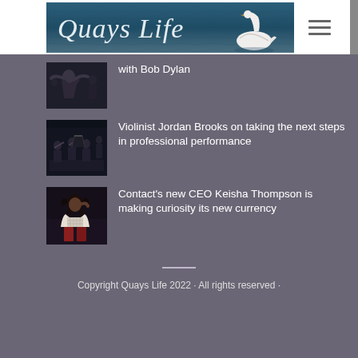[Figure (logo): Quays Life logo with swan on blue-grey water background]
[Figure (photo): Thumbnail of person gesturing, dark background]
with Bob Dylan
[Figure (photo): Thumbnail of orchestra musicians playing]
Violinist Jordan Brooks on taking the next steps in professional performance
[Figure (photo): Thumbnail of woman sitting, casual pose]
Contact's new CEO Keisha Thompson is making curiosity its new currency
Copyright Quays Life 2022 · All rights reserved ·